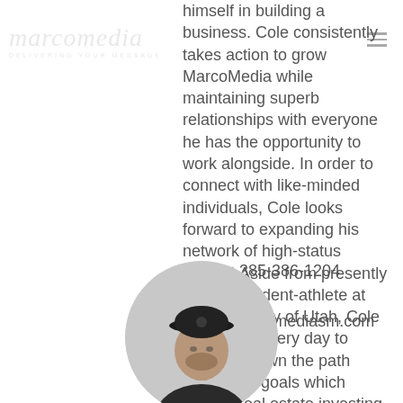[Figure (logo): MarcoMedia watermark logo with script text and tagline 'DELIVERING YOUR MESSAGE']
himself in building a business. Cole consistently takes action to grow MarcoMedia while maintaining superb relationships with everyone he has the opportunity to work alongside. In order to connect with like-minded individuals, Cole looks forward to expanding his network of high-status people. Aside from presently being a student-athlete at the University of Utah, Cole is inspired every day to continue down the path toward his goals which include real estate investing & business building.
Mobile: 385-386-1204
Email: cole@marcomediasm.com
[Figure (photo): Circular portrait photo of a man wearing a dark baseball cap, shown from the shoulders up against a light background]